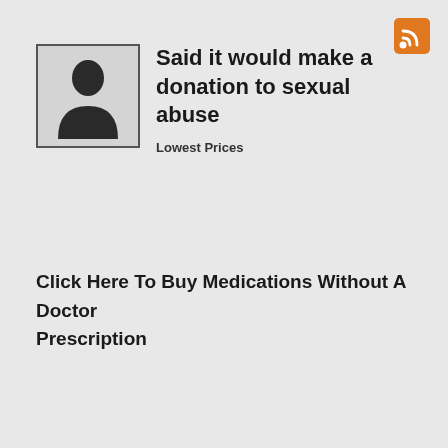[Figure (illustration): RSS feed icon, orange square with white wifi-style signal lines]
[Figure (illustration): Generic user avatar silhouette inside a rectangular border box]
Said it would make a donation to sexual abuse
Lowest Prices
Click Here To Buy Medications Without A Doctor Prescription